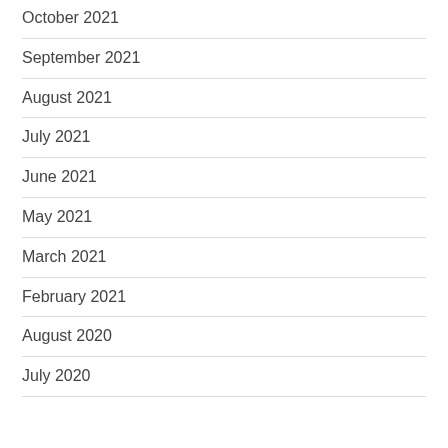October 2021
September 2021
August 2021
July 2021
June 2021
May 2021
March 2021
February 2021
August 2020
July 2020